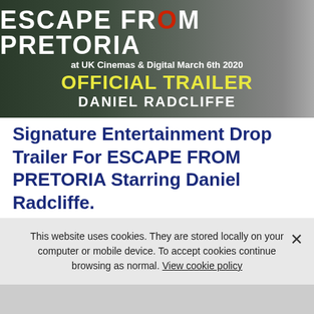[Figure (screenshot): Movie banner for Escape From Pretoria. Dark background with cars. Text: ESCAPE FROM PRETORIA, at UK Cinemas & Digital March 6th 2020, OFFICIAL TRAILER, DANIEL RADCLIFFE.]
Signature Entertainment Drop Trailer For ESCAPE FROM PRETORIA Starring Daniel Radcliffe.
January 2nd 2020
Synopsis: Daniel Radcliffe (Harry Potter) stars as Tim Jenkin, a real-life ANC activist who was branded a terrorist – and imprisoned - in Africa's
Read more
This website uses cookies. They are stored locally on your computer or mobile device. To accept cookies continue browsing as normal. View cookie policy